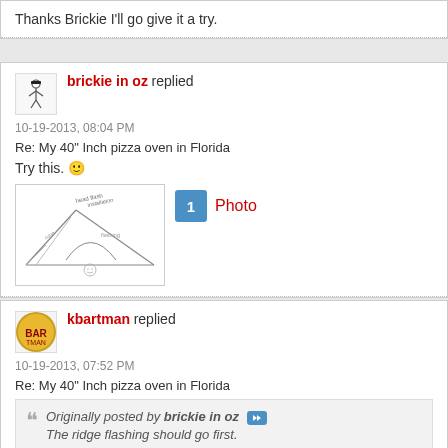Thanks Brickie I'll go give it a try.
brickie in oz replied
10-19-2013, 08:04 PM
Re: My 40" Inch pizza oven in Florida
Try this.
[Figure (illustration): Hand-drawn sketch of a pizza oven roof/arch structure with handwritten notes]
1 Photo
kbartman replied
10-19-2013, 07:52 PM
Re: My 40" Inch pizza oven in Florida
Originally posted by brickie in oz
The ridge flashing should go first.
Take the wall flashing past the ridge from both sides and cut